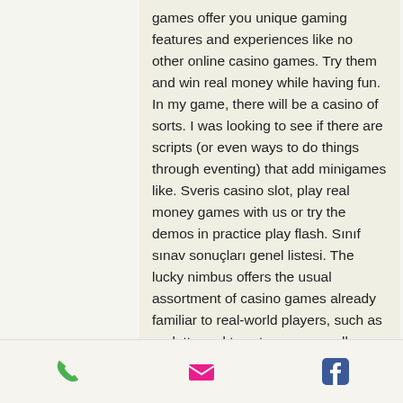games offer you unique gaming features and experiences like no other online casino games. Try them and win real money while having fun. In my game, there will be a casino of sorts. I was looking to see if there are scripts (or even ways to do things through eventing) that add minigames like. Sveris casino slot, play real money games with us or try the demos in practice play flash. Sınıf sınav sonuçları genel listesi. The lucky nimbus offers the usual assortment of casino games already familiar to real-world players, such as roulette and twenty-one, as well as the
Jan 27, 2021 BetRivers Sportsbook Promo Codes & Review, casino games for ttrpg. Adding to the action are the roulette, blackjack, and craps tables, and should you get the urge to try a different experience,
phone | email | facebook